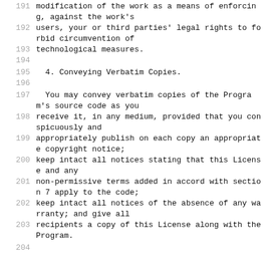191   modification of the work as a means of enforcing, against the work's
192   users, your or third parties' legal rights to forbid circumvention of
193   technological measures.
194
195     4. Conveying Verbatim Copies.
196
197     You may convey verbatim copies of the Program's source code as you
198   receive it, in any medium, provided that you conspicuously and
199   appropriately publish on each copy an appropriate copyright notice;
200   keep intact all notices stating that this License and any
201   non-permissive terms added in accord with section 7 apply to the code;
202   keep intact all notices of the absence of any warranty; and give all
203   recipients a copy of this License along with the Program.
204